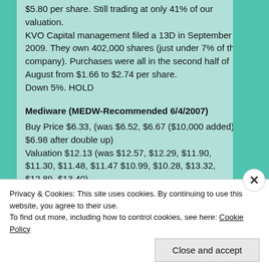$5.80 per share. Still trading at only 41% of our valuation. KVO Capital management filed a 13D in September 2009. They own 402,000 shares (just under 7% of the company). Purchases were all in the second half of August from $1.66 to $2.74 per share. Down 5%. HOLD
Mediware (MEDW-Recommended 6/4/2007)
Buy Price $6.33, (was $6.52, $6.67 ($10,000 added), $6.98 after double up) Valuation $12.13 (was $12.57, $12.29, $11.90, $11.30, $11.48, $11.47 $10.99, $10.28, $13.32, $12.89, $13.40) Up $.63 at $8.79.
Privacy & Cookies: This site uses cookies. By continuing to use this website, you agree to their use. To find out more, including how to control cookies, see here: Cookie Policy